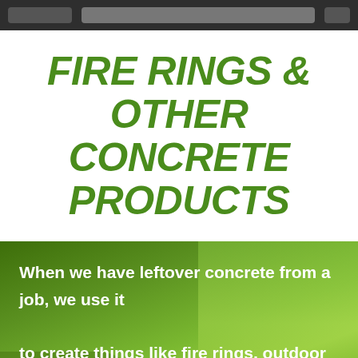FIRE RINGS & OTHER CONCRETE PRODUCTS
When we have leftover concrete from a job, we use it to create things like fire rings, outdoor decorations, and concrete blocks. Our fire rings come in a variety of colors, including brown and cream. Some of our